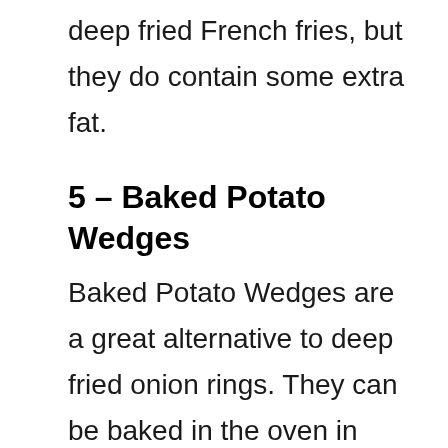deep fried French fries, but they do contain some extra fat.
5 – Baked Potato Wedges
Baked Potato Wedges are a great alternative to deep fried onion rings. They can be baked in the oven in just a short amount of time without any extra fat, they're healthier and they taste just as good! If you're looking for an